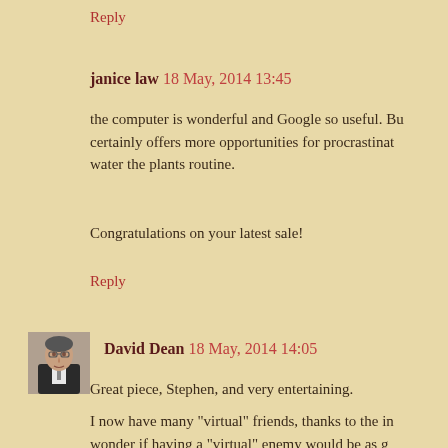Reply
janice law  18 May, 2014 13:45
the computer is wonderful and Google so useful. Bu certainly offers more opportunities for procrastinat water the plants routine.
Congratulations on your latest sale!
Reply
[Figure (photo): Avatar photo of David Dean, a person in dark clothing]
David Dean  18 May, 2014 14:05
Great piece, Stephen, and very entertaining.
I now have many "virtual" friends, thanks to the in wonder if having a "virtual" enemy would be as g course.